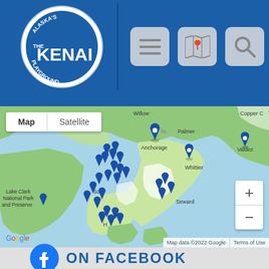[Figure (logo): Alaska's Kenai Playground circular logo in white on blue header]
[Figure (map): Google Maps screenshot showing Kenai Peninsula, Alaska with multiple blue map pin markers. Shows Anchorage, Palmer, Willow, Whittier, Seward, Valdez, Cordova, Homer, Lake Clark National Park and Preserve. Map/Satellite toggle visible. Zoom controls visible. Map data ©2022 Google. Terms of Use.]
[Figure (logo): Facebook icon with text ON FACEBOOK]